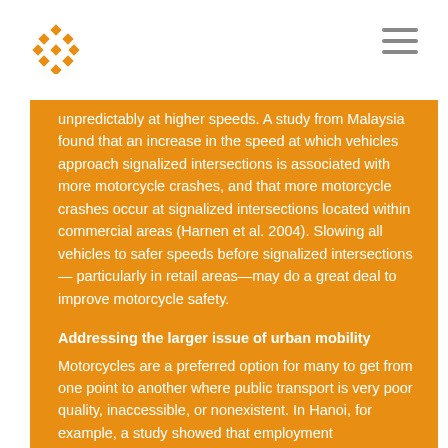unpredictably at higher speeds. A study from Malaysia found that an increase in the speed at which vehicles approach signalized intersections is associated with more motorcycle crashes, and that more motorcycle crashes occur at signalized intersections located within commercial areas (Harnen et al. 2004). Slowing all vehicles to safer speeds before signalized intersections— particularly in retail areas—may do a great deal to improve motorcycle safety.
Addressing the larger issue of urban mobility
Motorcycles are a preferred option for many to get from one point to another where public transport is very poor quality, inaccessible, or nonexistent. In Hanoi, for example, a study showed that employment opportunities are much less